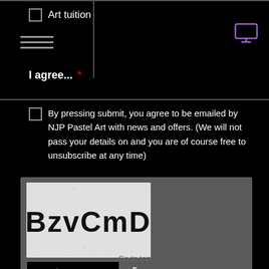Art tuition
I agree... *
By pressing submit, you agree to be emailed by NJP Pastel Art with news and offers. (We will not pass your details on and you are of course free to unsubscribe at any time)
[Figure (other): CAPTCHA image showing handwritten-style text: BzvCmD on a speckled light background]
Captcha
SUBMIT
Go to top